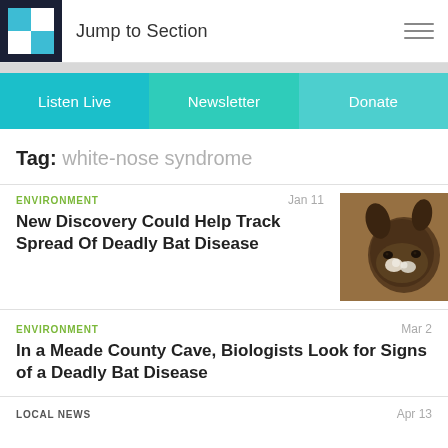Jump to Section
Listen Live | Newsletter | Donate
Tag: white-nose syndrome
ENVIRONMENT Jan 11
New Discovery Could Help Track Spread Of Deadly Bat Disease
[Figure (photo): Close-up photo of a bat with white fungus on its nose (white-nose syndrome)]
ENVIRONMENT Mar 2
In a Meade County Cave, Biologists Look for Signs of a Deadly Bat Disease
LOCAL NEWS Apr 13